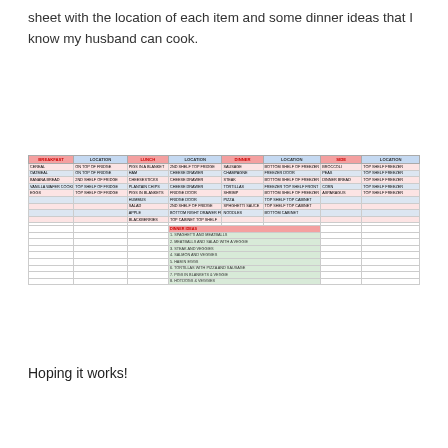sheet with the location of each item and some dinner ideas that I know my husband can cook.
| BREAKFAST | LOCATION | LUNCH | LOCATION | DINNER | LOCATION | SIDE | LOCATION |
| --- | --- | --- | --- | --- | --- | --- | --- |
| CEREAL | ON TOP OF FRIDGE | PIGS IN A BLANKET | 2ND SHELF TOP FRIDGE | SAUSAGE | BOTTOM SHELF OF FREEZER | BROCCOLI | TOP SHELF FREEZER |
| OATMEAL | ON TOP OF FRIDGE | HAM | CHEESE DRAWER | CHAMPAGNE | FREEZER DOOR | PEAS | TOP SHELF FREEZER |
| BANANA BREAD | 2ND SHELF OF FRIDGE | CHEESESTICKS | CHEESE DRAWER | STEAK | BOTTOM SHELF OF FREEZER | DINNER BREAD | TOP SHELF FREEZER |
| VANILLA WAFER COOKIES | TOP SHELF OF FRIDGE | PLANTAIN CHIPS | CHEESE DRAWER | TORTILLAS | FREEZER TOP SHELF FRONT | CORN | TOP SHELF FREEZER |
| EGGS | TOP SHELF OF FRIDGE | PIGS IN BLANKETS | FRIDGE DOOR | SHRIMP | BOTTOM SHELF OF FREEZER | ASPARAGUS | TOP SHELF FREEZER |
|  |  | HUMMUS | FRIDGE DOOR | PIZZA | TOP SHELF TOP CABINET |  |  |
|  |  | SALAD | 2ND SHELF OF FRIDGE | SPHGHETTI SAUCE | TOP SHELF TOP CABINET |  |  |
|  |  | APPLE | BOTTOM RIGHT DRAWER FRIDGE | NOODLES | BOTTOM CABINET |  |  |
|  |  | BLACKBERRIES | TOP CABINET TOP SHELF |  |  |  |  |
| DINNER IDEAS |
| --- |
| 1. SPAGHETTI AND MEATBALLS |
| 2. MEATBALLS AND SALAD WITH A VEGGIE |
| 3. STEAK AND VEGGIES |
| 4. SALMON AND VEGGIES |
| 5. HAM N EGGS |
| 6. TORTILLAS WITH PIZZA AND SAUSAGE |
| 7. PIGS IN BLANKETS & VEGGIE |
| 8. HOTDOGS & VEGGIES |
Hoping it works!